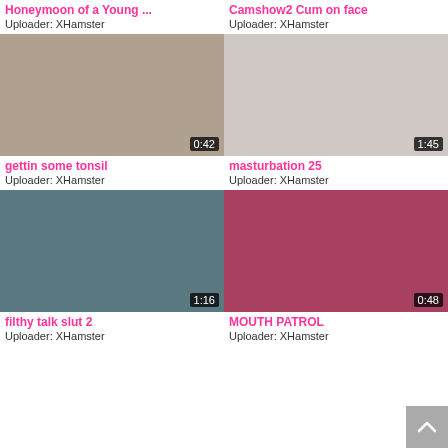Honeymoon of a Young ...
Uploader: XHamster
Camshow2 Cum on face
Uploader: XHamster
[Figure (photo): Video thumbnail 0:42 - gettin some tonsil]
[Figure (photo): Video thumbnail 1:45 - masturbation 25]
gettin some tonsil
Uploader: XHamster
masturbation 25
Uploader: XHamster
[Figure (photo): Video thumbnail 1:16 - filthy talk slut 2]
[Figure (photo): Video thumbnail 0:48 - MOUTH PATROL]
filthy talk slut 2
Uploader: XHamster
MOUTH PATROL
Uploader: XHamster